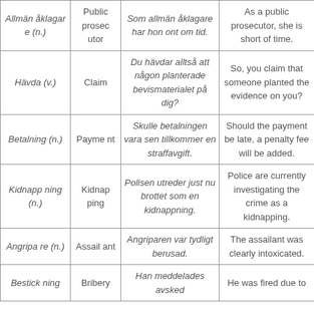| Swedish Term | English | Swedish Example | English Translation |
| --- | --- | --- | --- |
| Allmän åklagare (n.) | Public prosecutor | Som allmän åklagare har hon ont om tid. | As a public prosecutor, she is short of time. |
| Hävda (v.) | Claim | Du hävdar alltså att någon planterade bevismaterialet på dig? | So, you claim that someone planted the evidence on you? |
| Betalning (n.) | Payment | Skulle betalningen vara sen tillkommer en straffavgift. | Should the payment be late, a penalty fee will be added. |
| Kidnappning (n.) | Kidnapping | Polisen utreder just nu brottet som en kidnappning. | Police are currently investigating the crime as a kidnapping. |
| Angripare (n.) | Assailant | Angriparen var tydligt berusad. | The assailant was clearly intoxicated. |
| Bestickning | Bribery | Han meddelades avsked | He was fired due to |